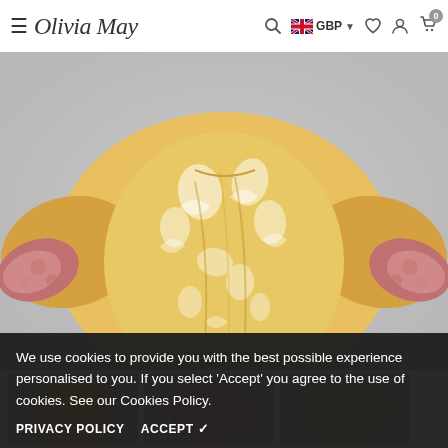Olivia May — navigation header with hamburger menu, logo, search, GBP currency selector, wishlist, account, and cart icons
[Figure (photo): A floral print blouse/top in yellow/gold and white with pink floral cuff details, photographed against a light grey background. The garment features wide sleeves with contrasting pink floral fabric and an open-front or layered style.]
We use cookies to provide you with the best possible experience personalised to you. If you select 'Accept' you agree to the use of cookies. See our Cookies Policy.
PRIVACY POLICY   ACCEPT ✔